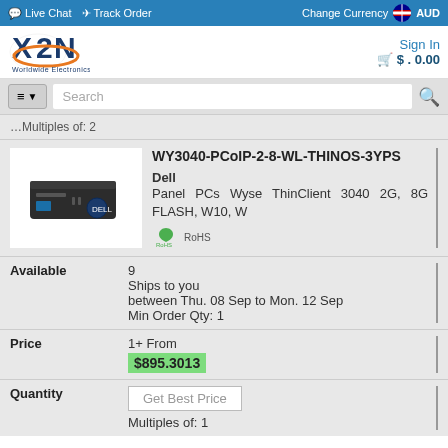Live Chat  Track Order  Change Currency  AUD
[Figure (logo): X2N Worldwide Electronics logo with orange and blue design]
Sign In
$ . 0.00
Search
Multiples of: 2
WY3040-PCoIP-2-8-WL-THINOS-3YPS
Dell
Panel PCs Wyse ThinClient 3040 2G, 8G FLASH, W10, W
RoHS
Available
9
Ships to you between Thu. 08 Sep to Mon. 12 Sep
Min Order Qty: 1
Price
1+ From
$895.3013
Quantity
Get Best Price
Multiples of: 1